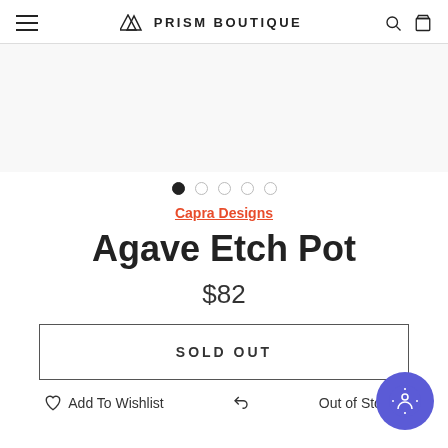PRISM BOUTIQUE
[Figure (screenshot): Product image carousel area (blank/white image area)]
[Figure (infographic): Carousel navigation dots: 5 dots, first one filled/active, rest empty]
Capra Designs
Agave Etch Pot
$82
SOLD OUT
Add To Wishlist   Out of Stock?